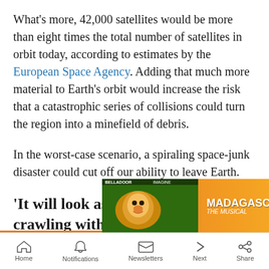What's more, 42,000 satellites would be more than eight times the total number of satellites in orbit today, according to estimates by the European Space Agency. Adding that much more material to Earth's orbit would increase the risk that a catastrophic series of collisions could turn the region into a minefield of debris.
In the worst-case scenario, a spiraling space-junk disaster could cut off our ability to leave Earth.
'It will look as if the whole sky is crawling with stars'
[Figure (other): Madagascar The Musical advertisement banner showing a lion character with orange background, MAY 26 · 6:30, CAPITAL ONE HALL, TYSONS · VA, TICKETS button]
Home | Notifications | Newsletters | Next | Share